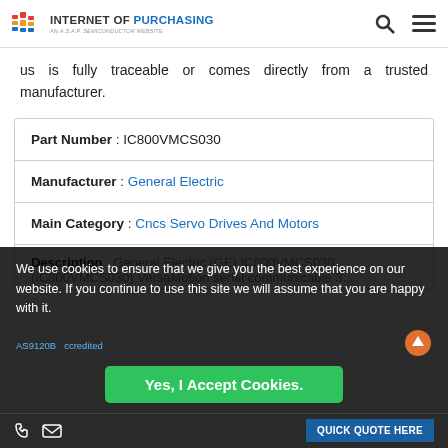INTERNET OF PURCHASING — AN A.S.A.P. SEMICONDUCTOR WEBSITE
us is fully traceable or comes directly from a trusted manufacturer.
| Field | Value |
| --- | --- |
| Part Number | IC800VMCS030 |
| Manufacturer | General Electric |
| Main Category | Cncs Servo Drives And Motors |
| Description | General Electric (GE) IC800VMCS030 (IC800VMCS030) VersaMotion serial communicable 3... |
We use cookies to ensure that we give you the best experience on our website. If you continue to use this site we will assume that you are happy with it.
Yes, I Accept Cookies.
AS9120B ... ccredited
QUICK QUOTE HERE